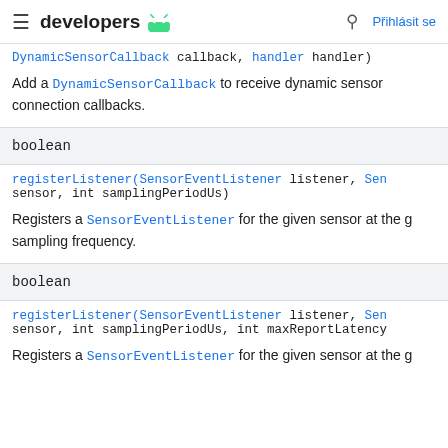developers
DynamicSensorCallback callback, handler handler)
Add a DynamicSensorCallback to receive dynamic sensor connection callbacks.
| return type |
| --- |
| boolean |
registerListener(SensorEventListener listener, Sen sensor, int samplingPeriodUs)
Registers a SensorEventListener for the given sensor at the g sampling frequency.
| return type |
| --- |
| boolean |
registerListener(SensorEventListener listener, Sen sensor, int samplingPeriodUs, int maxReportLatency
Registers a SensorEventListener for the given sensor at the g